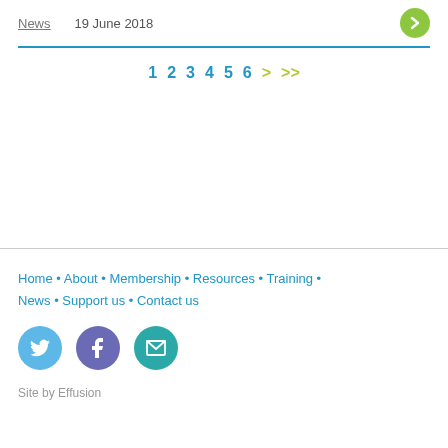News   19 June 2018
1 2 3 4 5 6 > >>
Home • About • Membership • Resources • Training • News • Support us • Contact us
Site by Effusion